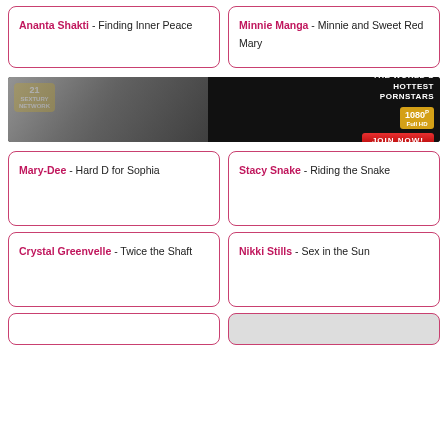Ananta Shakti - Finding Inner Peace
Minnie Manga - Minnie and Sweet Red Mary
[Figure (photo): Banner advertisement for 21 Sextury Network with text: THE WORLD'S HOTTEST PORNSTARS, 1080P Full HD, JOIN NOW!]
Mary-Dee - Hard D for Sophia
Stacy Snake - Riding the Snake
Crystal Greenvelle - Twice the Shaft
Nikki Stills - Sex in the Sun